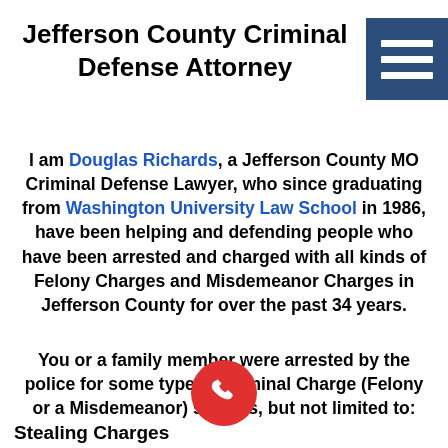Jefferson County Criminal Defense Attorney
[Figure (other): Navigation menu icon — three horizontal white lines on a dark blue/teal square background]
I am Douglas Richards, a Jefferson County MO Criminal Defense Lawyer, who since graduating from Washington University Law School in 1986, have been helping and defending people who have been arrested and charged with all kinds of Felony Charges and Misdemeanor Charges in Jefferson County for over the past 34 years.
You or a family member were arrested by the police for some type of Criminal Charge (Felony or a Misdemeanor) such as, but not limited to:
[Figure (other): Red circular phone call button with white phone handset icon]
Stealing Charges